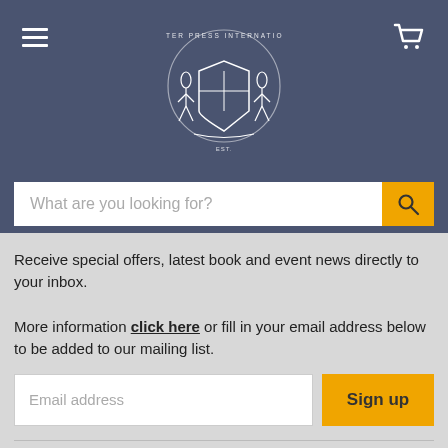Porter Press International — navigation header with logo, hamburger menu, and cart icon
What are you looking for?
Receive special offers, latest book and event news directly to your inbox.

More information click here or fill in your email address below to be added to our mailing list.
Email address
Sign up
Company Information
Company Reg Number: 06507103